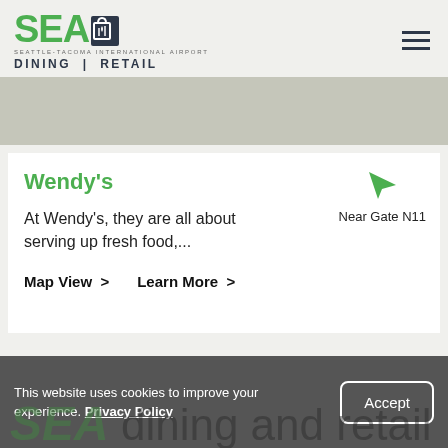[Figure (logo): SEA Seattle-Tacoma International Airport Dining | Retail logo with green SEA text and dark shopping bag icon with fork and knife]
[Figure (photo): Gray/beige banner image placeholder]
Wendy's
Near Gate N11
At Wendy's, they are all about serving up fresh food,...
Map View >   Learn More >
This website uses cookies to improve your experience. Privacy Policy
Accept
SEA dining and retail